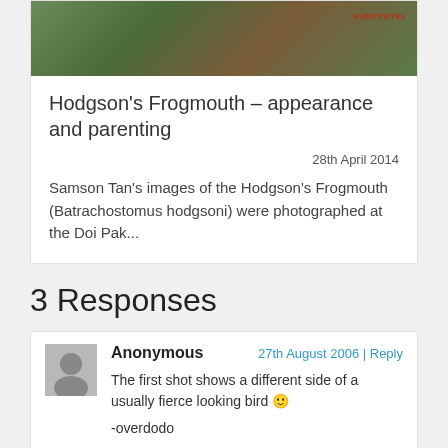[Figure (photo): Partial photo of a bird (Hodgson's Frogmouth) on a tree with green foliage and pink flowers, with a watermark text in the top right corner]
Hodgson's Frogmouth – appearance and parenting
28th April 2014
Samson Tan's images of the Hodgson's Frogmouth (Batrachostomus hodgsoni) were photographed at the Doi Pak...
3 Responses
Anonymous
27th August 2006 | Reply
The first shot shows a different side of a usually fierce looking bird 🙂

-overdodo